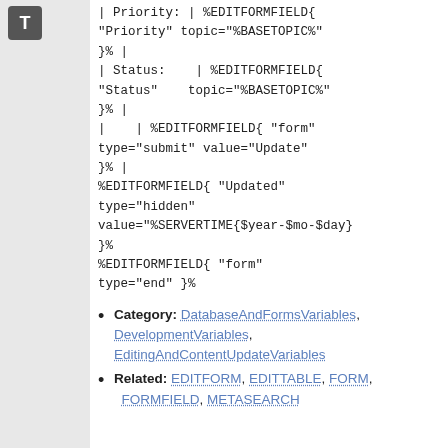[Figure (other): Gray icon with letter T on dark background]
| Priority: | %EDITFORMFIELD{
"Priority" topic="%BASETOPIC%"
}% |
| Status:    | %EDITFORMFIELD{
"Status"    topic="%BASETOPIC%"
}% |
|    | %EDITFORMFIELD{ "form"
type="submit" value="Update"
}% |
%EDITFORMFIELD{ "Updated"
type="hidden"
value="%SERVERTIME{$year-$mo-$day}
}%
%EDITFORMFIELD{ "form"
type="end" }%
Category: DatabaseAndFormsVariables, DevelopmentVariables, EditingAndContentUpdateVariables
Related: EDITFORM, EDITTABLE, FORM, FORMFIELD, METASEARCH